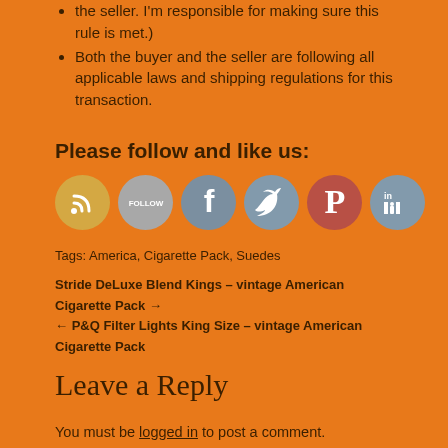the seller. I'm responsible for making sure this rule is met.)
Both the buyer and the seller are following all applicable laws and shipping regulations for this transaction.
Please follow and like us:
[Figure (illustration): Six social media icon circles: RSS (orange), Follow (gray), Facebook (blue-gray), Twitter (blue-gray), Pinterest (red-orange), LinkedIn (blue-gray)]
Tags: America, Cigarette Pack, Suedes
Stride DeLuxe Blend Kings – vintage American Cigarette Pack →
← P&Q Filter Lights King Size – vintage American Cigarette Pack
Leave a Reply
You must be logged in to post a comment.